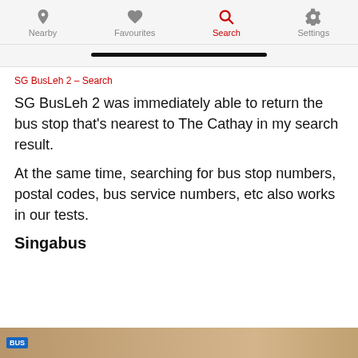[Figure (screenshot): Mobile app navigation bar with four tabs: Nearby (location pin icon), Favourites (heart icon), Search (magnifying glass icon, active in red), Settings (gear icon)]
[Figure (screenshot): Search bar represented as a thick black horizontal bar on a light gray background]
SG BusLeh 2 – Search
SG BusLeh 2 was immediately able to return the bus stop that's nearest to The Cathay in my search result.
At the same time, searching for bus stop numbers, postal codes, bus service numbers, etc also works in our tests.
Singabus
[Figure (photo): Partial bottom image strip showing a bus or street scene, with a blue badge visible]